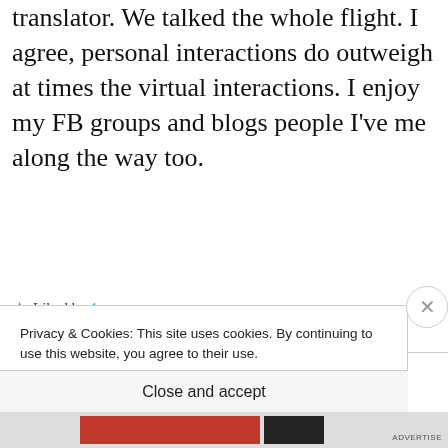translator. We talked the whole flight. I agree, personal interactions do outweigh at times the virtual interactions. I enjoy my FB groups and blogs people I've me along the way too.
★ Liked by 1 person
REPLY
Privacy & Cookies: This site uses cookies. By continuing to use this website, you agree to their use.
To find out more, including how to control cookies, see here: Cookie Policy
Close and accept